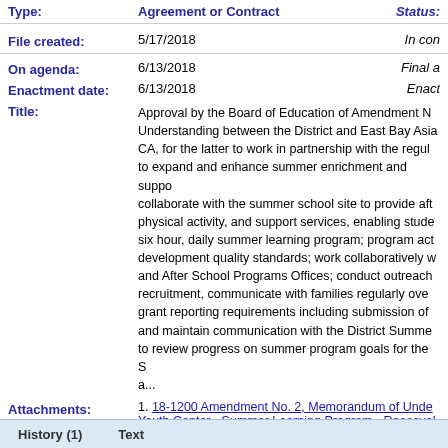Type: Agreement or Contract Status:
File created: 5/17/2018 In con...
On agenda: 6/13/2018 Final a...
Enactment date: 6/13/2018 Enact...
Title: Approval by the Board of Education of Amendment N... Understanding between the District and East Bay Asia... CA, for the latter to work in partnership with the regul... to expand and enhance summer enrichment and suppo... collaborate with the summer school site to provide aft... physical activity, and support services, enabling stude... six hour, daily summer learning program; program act... development quality standards; work collaboratively w... and After School Programs Offices; conduct outreach recruitment, communicate with families regularly ove... grant reporting requirements including submission of ... and maintain communication with the District Summe... to review progress on summer program goals for the S... a...
Attachments: 1. 18-1200 Amendment No. 2, Memorandum of Unde... Youth Center - Summer Learning Program - Roosevel...
Related files: 18-0686, 17-1622
Contact: julie.mccalmont@ousd.org
History (1) Text